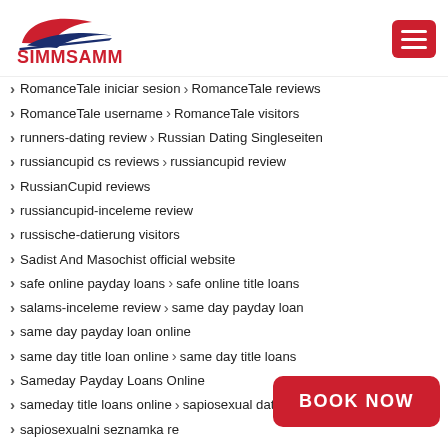[Figure (logo): SimmSamm logo with stylized red and blue design and bold red SIMMSAMM text]
RomanceTale iniciar sesion › RomanceTale reviews
RomanceTale username › RomanceTale visitors
runners-dating review › Russian Dating Singleseiten
russiancupid cs reviews › russiancupid review
RussianCupid reviews
russiancupid-inceleme review
russische-datierung visitors
Sadist And Masochist official website
safe online payday loans › safe online title loans
salams-inceleme review › same day payday loan
same day payday loan online
same day title loan online › same day title loans
Sameday Payday Loans Online
sameday title loans online › sapiosexual dating sites
sapiosexualni seznamka re...
Say Allo official website › S... los
[Figure (other): Red BOOK NOW button overlay]